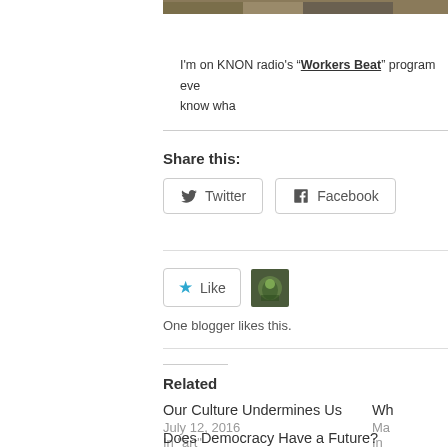[Figure (photo): Partial photo strip at top of page, showing outdoor/nature scene in muted tones]
I'm on KNON radio's “Workers Beat” program eve... know wha...
Share this:
[Figure (other): Twitter and Facebook share buttons]
[Figure (other): Like button with star icon and a blogger avatar thumbnail; text: One blogger likes this.]
One blogger likes this.
Related
Our Culture Undermines Us
July 12, 2016
In "art"
Wh...
Ma...
In...
Does Democracy Have a Future?